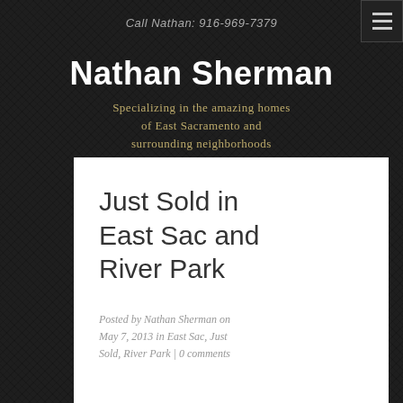Call Nathan: 916-969-7379
Nathan Sherman
Specializing in the amazing homes of East Sacramento and surrounding neighborhoods
Just Sold in East Sac and River Park
Posted by Nathan Sherman on May 7, 2013 in East Sac, Just Sold, River Park | 0 comments